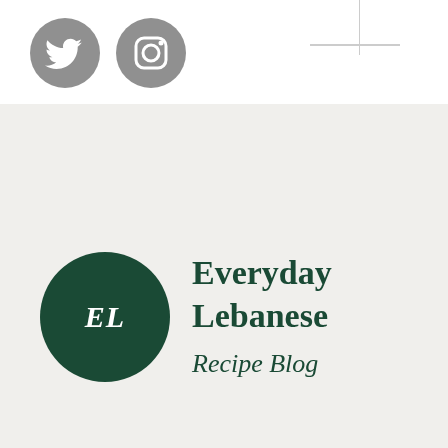[Figure (logo): Twitter bird icon (gray circle)]
[Figure (logo): Instagram icon (gray circle)]
[Figure (logo): Everyday Lebanese Recipe Blog logo with dark green circle containing EL initials and brand name]
roll
Online poker com free roll
[Figure (screenshot): Blurred screenshot of an online poker game interface with multiple players and colorful game elements]